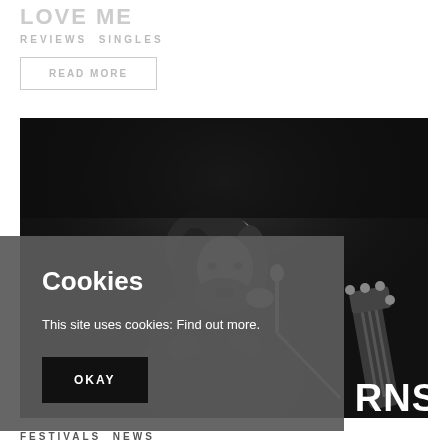LOVE ME
REVIEWS SINGLES
READ MORE
[Figure (photo): Black and white concert photo of a male singer with long hair and beard, wearing a fuzzy dark coat, singing into a microphone. A guitar neck visible in the background right.]
Cookies
This site uses cookies: Find out more.
OKAY
RNS
FESTIVALS NEWS